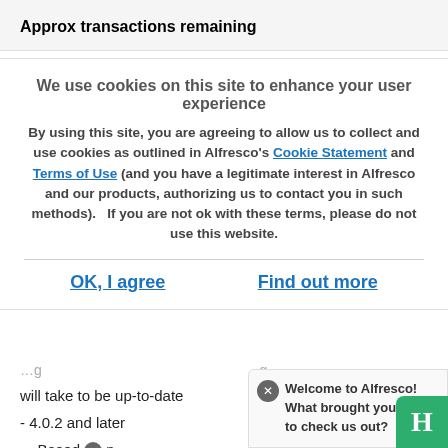Approx transactions remaining
We use cookies on this site to enhance your user experience
By using this site, you are agreeing to allow us to collect and use cookies as outlined in Alfresco’s Cookie Statement and Terms of Use (and you have a legitimate interest in Alfresco and our products, authorizing us to contact you in such methods).   If you are not ok with these terms, please do not use this website.
OK, I agree    Find out more
will take to be up-to-date
- 4.0.2 and later
- Based on ... e average numb... - average time to index a node - how long the index will
Welcome to Alfresco! What brought you here to check us out?